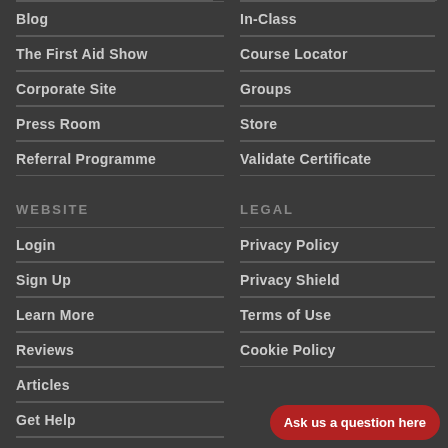Blog
The First Aid Show
Corporate Site
Press Room
Referral Programme
In-Class
Course Locator
Groups
Store
Validate Certificate
WEBSITE
LEGAL
Login
Sign Up
Learn More
Reviews
Articles
Get Help
Contact
Privacy Policy
Privacy Shield
Terms of Use
Cookie Policy
Ask us a question here